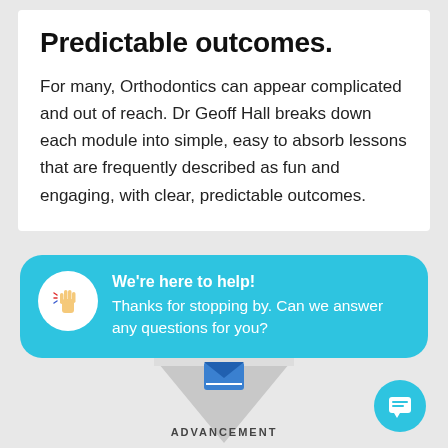Predictable outcomes.
For many, Orthodontics can appear complicated and out of reach. Dr Geoff Hall breaks down each module into simple, easy to absorb lessons that are frequently described as fun and engaging, with clear, predictable outcomes.
[Figure (infographic): Chat bubble widget with waving hand icon, title 'We're here to help!' and message 'Thanks for stopping by. Can we answer any questions for you?' on a teal background]
[Figure (illustration): Gray diamond/chevron badge shape with text 'ADVANCEMENT' around the bottom and a blue envelope/diploma icon in the center]
[Figure (illustration): Teal circular chat button with a message/comment icon]